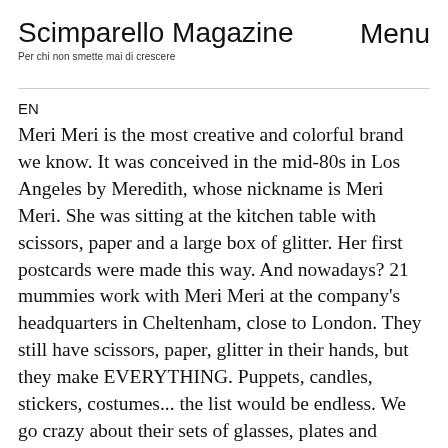Scimparello Magazine   Menu
Per chi non smette mai di crescere
EN
Meri Meri is the most creative and colorful brand we know. It was conceived in the mid-80s in Los Angeles by Meredith, whose nickname is Meri Meri. She was sitting at the kitchen table with scissors, paper and a large box of glitter. Her first postcards were made this way. And nowadays? 21 mummies work with Meri Meri at the company's headquarters in Cheltenham, close to London. They still have scissors, paper, glitter in their hands, but they make EVERYTHING. Puppets, candles, stickers, costumes... the list would be endless. We go crazy about their sets of glasses, plates and napkins, all made of paper. With new patterns every season, they are perfect for the first outdoor picnics. We cannot really resist and use them at the first opportunity, even if it's a